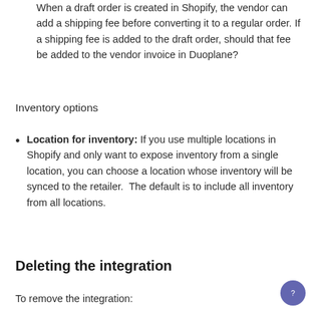When a draft order is created in Shopify, the vendor can add a shipping fee before converting it to a regular order. If a shipping fee is added to the draft order, should that fee be added to the vendor invoice in Duoplane?
Inventory options
Location for inventory: If you use multiple locations in Shopify and only want to expose inventory from a single location, you can choose a location whose inventory will be synced to the retailer.  The default is to include all inventory from all locations.
Deleting the integration
To remove the integration: